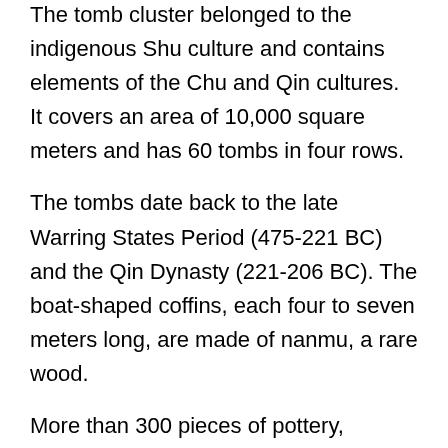The tomb cluster belonged to the indigenous Shu culture and contains elements of the Chu and Qin cultures.  It covers an area of 10,000 square meters and has 60 tombs in four rows.
The tombs date back to the late Warring States Period (475-221 BC) and the Qin Dynasty (221-206 BC). The boat-shaped coffins, each four to seven meters long, are made of nanmu, a rare wood.
More than 300 pieces of pottery, bronze, iron and bamboo as well as weapons, coins and 11 seals, have been dug up, said Gong Yangmin, head of the excavation team.
Gong said two excavated tombs were well-preserved. In one, workers discovered 10 bamboo baskets of well-preserved grain and a delicate string of glass...